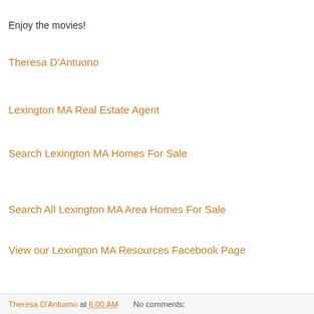Enjoy the movies!
Theresa D'Antuono
Lexington MA Real Estate Agent
Search Lexington MA Homes For Sale
Search All Lexington MA Area Homes For Sale
View our Lexington MA Resources Facebook Page
Theresa D'Antuono at 6:00 AM    No comments: